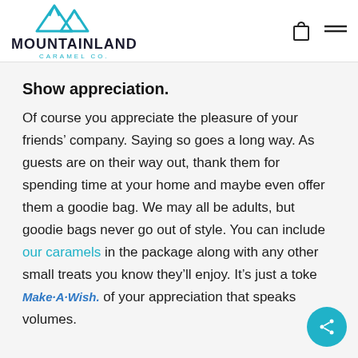MOUNTAINLAND CARAMEL CO.
Show appreciation.
Of course you appreciate the pleasure of your friends’ company. Saying so goes a long way. As guests are on their way out, thank them for spending time at your home and maybe even offer them a goodie bag. We may all be adults, but goodie bags never go out of style. You can include our caramels in the package along with any other small treats you know they’ll enjoy. It’s just a toke of your appreciation that speaks volumes.